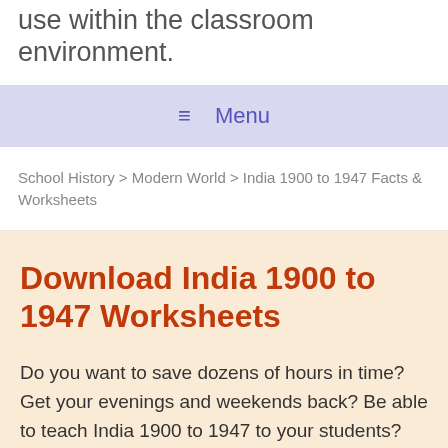use within the classroom environment.
≡  Menu
School History > Modern World > India 1900 to 1947 Facts & Worksheets
Download India 1900 to 1947 Worksheets
Do you want to save dozens of hours in time? Get your evenings and weekends back? Be able to teach India 1900 to 1947 to your students?